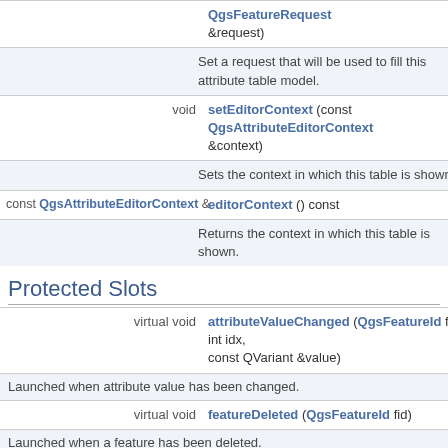| Return type | Method |
| --- | --- |
|  | QgsFeatureRequest &request) |
|  | Set a request that will be used to fill this attribute table model. |
| void | setEditorContext (const QgsAttributeEditorContext &context) |
|  | Sets the context in which this table is shown. |
| const QgsAttributeEditorContext & | editorContext () const |
|  | Returns the context in which this table is shown. |
Protected Slots
| Return type | Method |
| --- | --- |
| virtual void | attributeValueChanged (QgsFeatureId fid, int idx, const QVariant &value) |
|  | Launched when attribute value has been changed. |
| virtual void | featureDeleted (QgsFeatureId fid) |
|  | Launched when a feature has been deleted. |
| virtual void | featureAdded (QgsFeatureId fid) |
|  | Launched when a feature has been added. |